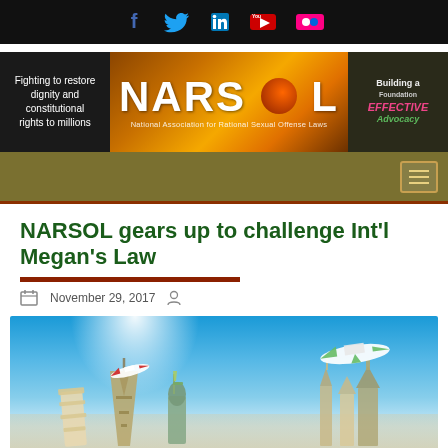Social media icons bar (Facebook, Twitter, LinkedIn, YouTube, Flickr)
[Figure (logo): NARSOL banner: left black panel 'Fighting to restore dignity and constitutional rights to millions', center gold/brown NARSOL logo with sun graphic and subtitle 'National Association for Rational Sexual Offense Laws', right panel with 'Building a Foundation for Effective Advocacy']
[Figure (screenshot): Olive/khaki navigation bar with hamburger menu icon on the right, brown bottom border]
NARSOL gears up to challenge Int'l Megan's Law
November 29, 2017
[Figure (photo): Travel/international photo showing world landmarks (Eiffel Tower, Statue of Liberty, Leaning Tower of Pisa, etc.) against a bright blue sky with airplanes flying]